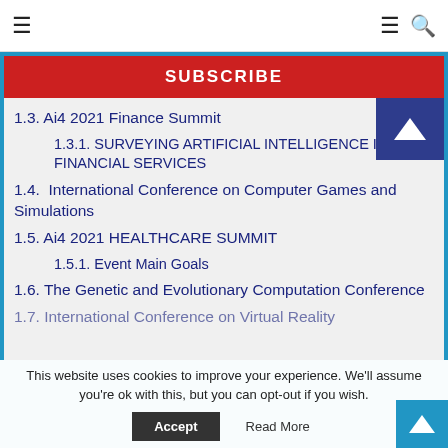≡  ≡ 🔍
SUBSCRIBE
1.3. Ai4 2021 Finance Summit
1.3.1. SURVEYING ARTIFICIAL INTELLIGENCE IN FINANCIAL SERVICES
1.4.  International Conference on Computer Games and Simulations
1.5. Ai4 2021 HEALTHCARE SUMMIT
1.5.1. Event Main Goals
1.6. The Genetic and Evolutionary Computation Conference
1.7. International Conference on Virtual Reality
This website uses cookies to improve your experience. We'll assume you're ok with this, but you can opt-out if you wish.